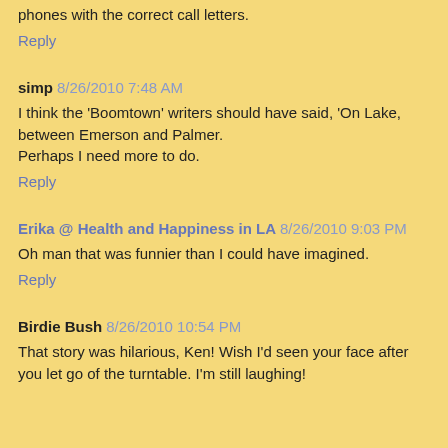phones with the correct call letters.
Reply
simp 8/26/2010 7:48 AM
I think the 'Boomtown' writers should have said, 'On Lake, between Emerson and Palmer.
Perhaps I need more to do.
Reply
Erika @ Health and Happiness in LA 8/26/2010 9:03 PM
Oh man that was funnier than I could have imagined.
Reply
Birdie Bush 8/26/2010 10:54 PM
That story was hilarious, Ken! Wish I'd seen your face after you let go of the turntable. I'm still laughing!